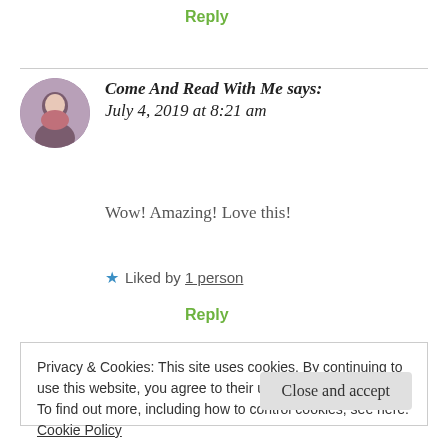Reply
Come And Read With Me says: July 4, 2019 at 8:21 am
Wow! Amazing! Love this!
★ Liked by 1 person
Reply
Privacy & Cookies: This site uses cookies. By continuing to use this website, you agree to their use. To find out more, including how to control cookies, see here: Cookie Policy
Close and accept